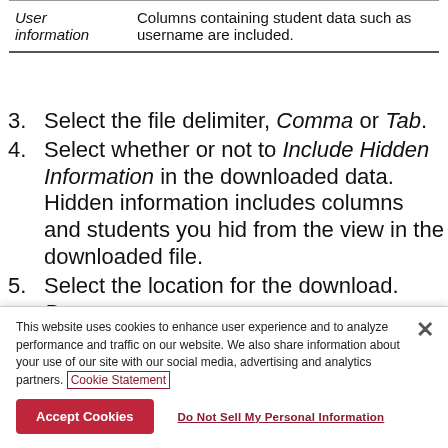|  |  |
| --- | --- |
| User information | Columns containing student data such as username are included. |
3. Select the file delimiter, Comma or Tab.
4. Select whether or not to Include Hidden Information in the downloaded data. Hidden information includes columns and students you hid from the view in the downloaded file.
5. Select the location for the download. Browse
This website uses cookies to enhance user experience and to analyze performance and traffic on our website. We also share information about your use of our site with our social media, advertising and analytics partners. Cookie Statement
Accept Cookies   Do Not Sell My Personal Information